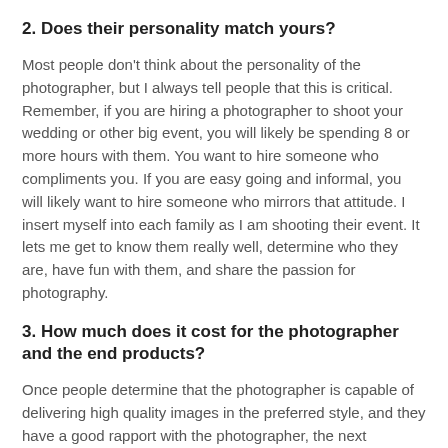2. Does their personality match yours?
Most people don't think about the personality of the photographer, but I always tell people that this is critical. Remember, if you are hiring a photographer to shoot your wedding or other big event, you will likely be spending 8 or more hours with them. You want to hire someone who compliments you. If you are easy going and informal, you will likely want to hire someone who mirrors that attitude. I insert myself into each family as I am shooting their event. It lets me get to know them really well, determine who they are, have fun with them, and share the passion for photography.
3. How much does it cost for the photographer and the end products?
Once people determine that the photographer is capable of delivering high quality images in the preferred style, and they have a good rapport with the photographer, the next question is usually about cost.
In my opinion, there are some factors which might influence